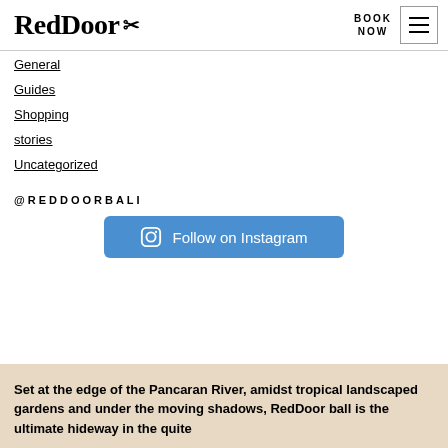RedDoor ✂ — BOOK NOW
General
Guides
Shopping
stories
Uncategorized
@REDDOORBALI
Follow on Instagram
Set at the edge of the Pancaran River, amidst tropical landscaped gardens and under the moving shadows, RedDoor ball is the ultimate hideway in the quite